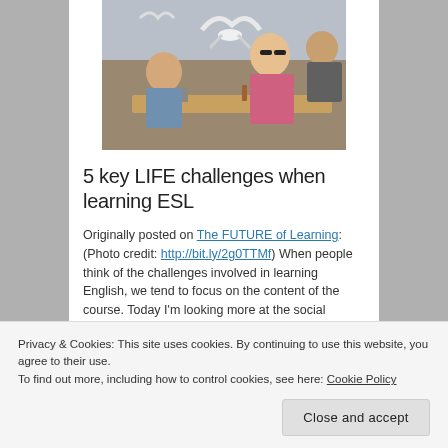[Figure (photo): Outdoor cafe scene with people sitting at tables, a seagull flying in the foreground, man resting his chin on his hands, woman in floral top in background]
5 key LIFE challenges when learning ESL
Originally posted on The FUTURE of Learning: (Photo credit: http://bit.ly/2g0TTMf) When people think of the challenges involved in learning English, we tend to focus on the content of the course. Today I'm looking more at the social challenges of learning English. Check these out: The challengers are: Your
Privacy & Cookies: This site uses cookies. By continuing to use this website, you agree to their use.
To find out more, including how to control cookies, see here: Cookie Policy
Close and accept